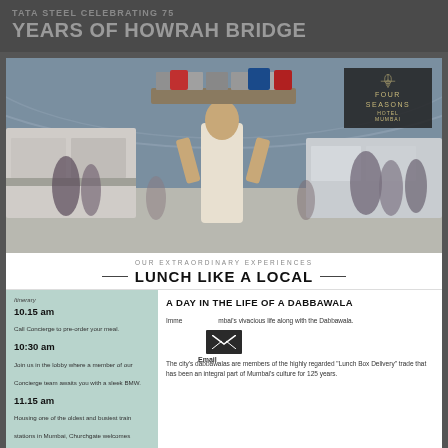TATA STEEL CELEBRATING 75 YEARS OF HOWRAH BRIDGE
[Figure (photo): A dabbawala carrying large tray of tiffin boxes and bags on his head at a train station in Mumbai, crowd of people in background. Four Seasons Hotel Mumbai logo overlaid top right.]
OUR EXTRAORDINARY EXPERIENCES — LUNCH LIKE A LOCAL —
A DAY IN THE LIFE OF A DABBAWALA
Itinerary
10.15 am
Call Concierge to pre-order your meal.
10:30 am
Join us in the lobby where a member of our Concierge team awaits you with a sleek BMW.
11.15 am
Housing one of the oldest and busiest train stations in Mumbai, Churchgate welcomes innumerable tourists captivating them with its charismatic chaos. Soak in the energy of Mumbaikars while you wait for the Dabbawalas.
Immerse Mumbai's vivacious life along with the Dabbawala.

The city's dabbawalas are members of the highly regarded "Lunch Box Delivery" trade that has been an integral part of Mumbai's culture for 125 years.